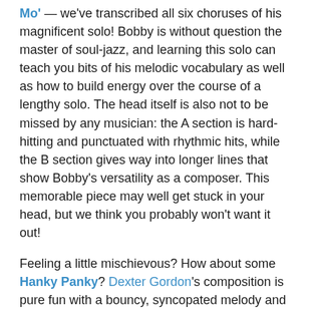Mo' — we've transcribed all six choruses of his magnificent solo! Bobby is without question the master of soul-jazz, and learning this solo can teach you bits of his melodic vocabulary as well as how to build energy over the course of a lengthy solo. The head itself is also not to be missed by any musician: the A section is hard-hitting and punctuated with rhythmic hits, while the B section gives way into longer lines that show Bobby's versatility as a composer. This memorable piece may well get stuck in your head, but we think you probably won't want it out!
Feeling a little mischievous? How about some Hanky Panky? Dexter Gordon's composition is pure fun with a bouncy, syncopated melody and a classic blues march bass line. For singers, we have Tina May's lyric version, No More Hanky-Panky. Her lyric plays off the cheeky title of Dexter's original. It's sung from the perspective of a child who keeps getting into trouble. Regardless of what adults